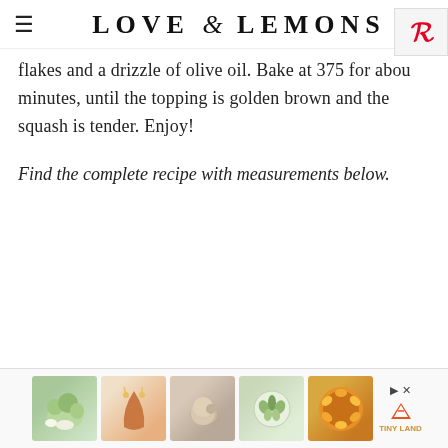LOVE & LEMONS
flakes and a drizzle of olive oil. Bake at 375 for about minutes, until the topping is golden brown and the squash is tender. Enjoy!
Find the complete recipe with measurements below.
[Figure (other): Advertisement banner at bottom with 5 product thumbnail images and Tiny Land logo]